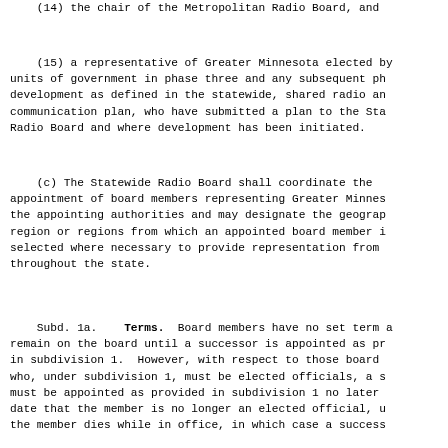(14) the chair of the Metropolitan Radio Board, and
(15) a representative of Greater Minnesota elected by units of government in phase three and any subsequent ph development as defined in the statewide, shared radio an communication plan, who have submitted a plan to the Sta Radio Board and where development has been initiated.
(c) The Statewide Radio Board shall coordinate the appointment of board members representing Greater Minnes the appointing authorities and may designate the geograp region or regions from which an appointed board member i selected where necessary to provide representation from throughout the state.
Subd. 1a.    Terms.  Board members have no set term a remain on the board until a successor is appointed as pr in subdivision 1.  However, with respect to those board who, under subdivision 1, must be elected officials, a s must be appointed as provided in subdivision 1 no later date that the member is no longer an elected official, u the member dies while in office, in which case a success